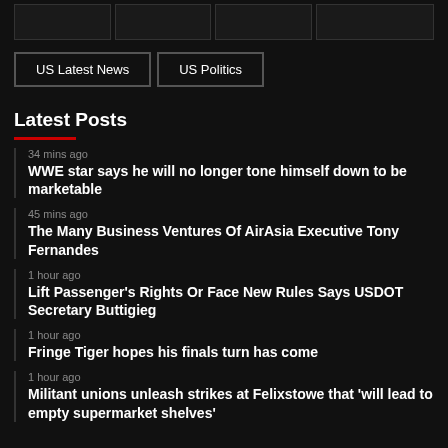[navigation tabs placeholder row]
US Latest News
US Politics
Latest Posts
34 mins ago — WWE star says he will no longer tone himself down to be marketable
45 mins ago — The Many Business Ventures Of AirAsia Executive Tony Fernandes
1 hour ago — Lift Passenger's Rights Or Face New Rules Says USDOT Secretary Buttigieg
1 hour ago — Fringe Tiger hopes his finals turn has come
1 hour ago — Militant unions unleash strikes at Felixstowe that 'will lead to empty supermarket shelves'